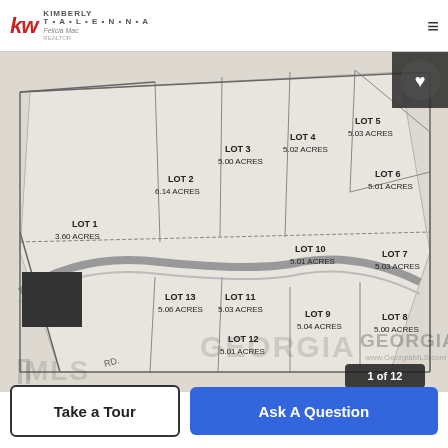kw KIMBERLY | Felicia Mac Realtor
[Figure (map): Subdivision plat map showing 13 lots: LOT 1 3.60 ACRES, LOT 2 6.14 ACRES, LOT 3 5.00 ACRES, LOT 4 5.02 ACRES, LOT 5 5.03 ACRES, LOT 6 5.01 ACRES, LOT 7 5.03 ACRES, LOT 8 5.00 ACRES, LOT 9 5.04 ACRES, LOT 10 5.01 ACRES, LOT 11 5.03 ACRES, LOT 12 5.01 ACRES, LOT 13 5.06 ACRES. Georgia MLS watermark visible. Image counter shows 1 of 12.]
1 of 12
Take a Tour
Ask A Question